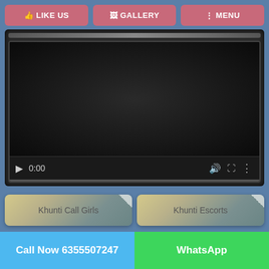LIKE US  GALLERY  MENU
[Figure (screenshot): Embedded video player with black screen showing 0:00 timestamp, playback controls including play button, volume, fullscreen, and options menu. Progress bar at bottom.]
Khunti Call Girls
Khunti Escorts
Call Now 6355507247   WhatsApp